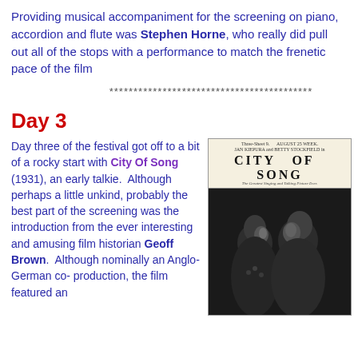Providing musical accompaniment for the screening on piano, accordion and flute was Stephen Horne, who really did pull out all of the stops with a performance to match the frenetic pace of the film
******************************************
Day 3
Day three of the festival got off to a bit of a rocky start with City Of Song (1931), an early talkie. Although perhaps a little unkind, probably the best part of the screening was the introduction from the ever interesting and amusing film historian Geoff Brown. Although nominally an Anglo-German co-production, the film featured an
[Figure (photo): Black and white photo of City Of Song (1931) showing a newspaper advertisement header at top with 'CITY OF SONG' in large letters, and below a scene of a man and woman in close conversation]